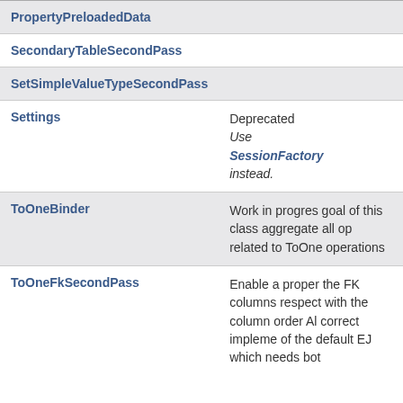| Name | Description |
| --- | --- |
| PropertyPreloadedData |  |
| SecondaryTableSecondPass |  |
| SetSimpleValueTypeSecondPass |  |
| Settings | Deprecated
Use SessionFactory instead. |
| ToOneBinder | Work in progress goal of this class aggregate all op related to ToOne operations |
| ToOneFkSecondPass | Enable a proper the FK columns respect with the column order Al correct impleme of the default EJ which needs bot |